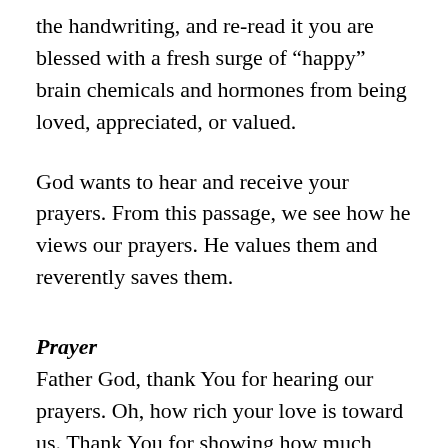the handwriting, and re-read it you are blessed with a fresh surge of “happy” brain chemicals and hormones from being loved, appreciated, or valued.
God wants to hear and receive your prayers. From this passage, we see how he views our prayers. He values them and reverently saves them.
Prayer
Father God, thank You for hearing our prayers. Oh, how rich your love is toward us. Thank You for showing how much You treasure our earnest communications. Holy Spirit, help us to love others with the same grace and mercy extended to us. May our lives then reflect the goodness and purity of God so the name of Jehovah is lifted above all other names.